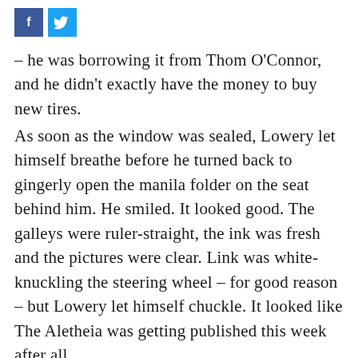[Figure (other): Social media share buttons: Facebook (f) blue square and Twitter bird icon light blue square]
– he was borrowing it from Thom O'Connor, and he didn't exactly have the money to buy new tires.
As soon as the window was sealed, Lowery let himself breathe before he turned back to gingerly open the manila folder on the seat behind him. He smiled. It looked good. The galleys were ruler-straight, the ink was fresh and the pictures were clear. Link was white-knuckling the steering wheel – for good reason – but Lowery let himself chuckle. It looked like The Aletheia was getting published this week after all.